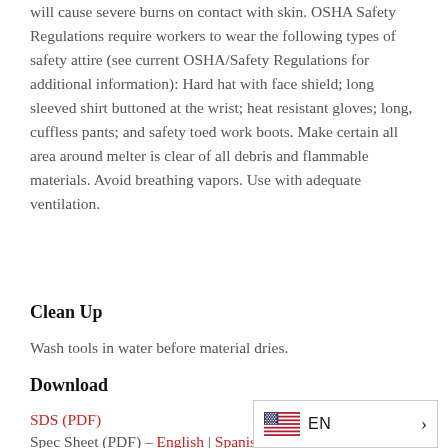will cause severe burns on contact with skin. OSHA Safety Regulations require workers to wear the following types of safety attire (see current OSHA/Safety Regulations for additional information): Hard hat with face shield; long sleeved shirt buttoned at the wrist; heat resistant gloves; long, cuffless pants; and safety toed work boots. Make certain all area around melter is clear of all debris and flammable materials. Avoid breathing vapors. Use with adequate ventilation.
Clean Up
Wash tools in water before material dries.
Download
SDS (PDF)
Spec Sheet (PDF) – English | Spanish